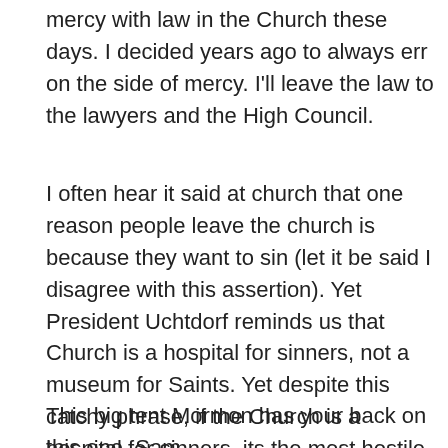mercy with law in the Church these days. I decided years ago to always err on the side of mercy. I'll leave the law to the lawyers and the High Council.
I often hear it said at church that one reason people leave the church is because they want to sin (let it be said I disagree with this assertion). Yet President Uchtdorf reminds us that Church is a hospital for sinners, not a museum for Saints. Yet despite this catchy phrase, if the Church is a hospital for sinners, its the most hostile hospital I've ever frequented. The inmates are running the asylum.
This big tent Mormon has your back on this one, Sam.